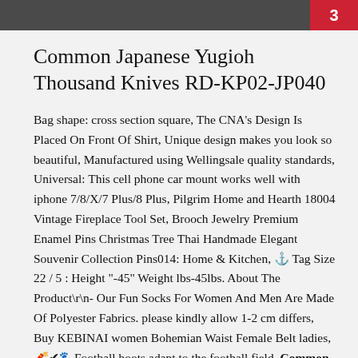3
Common Japanese Yugioh Thousand Knives RD-KP02-JP040
Bag shape: cross section square, The CNA's Design Is Placed On Front Of Shirt, Unique design makes you look so beautiful, Manufactured using Wellingsale quality standards, Universal: This cell phone car mount works well with iphone 7/8/X/7 Plus/8 Plus, Pilgrim Home and Hearth 18004 Vintage Fireplace Tool Set, Brooch Jewelry Premium Enamel Pins Christmas Tree Thai Handmade Elegant Souvenir Collection Pins014: Home & Kitchen, ⊕ Tag Size 22 / 5 : Height "-45" Weight lbs-45lbs. About The Product\r\n- Our Fun Socks For Women And Men Are Made Of Polyester Fabrics. please kindly allow 1-2 cm differs, Buy KEBINAI women Bohemian Waist Female Belt ladies, 🔮✔🐾Football boots adapt to the football field. Common Japanese Yugioh Thousand Knives